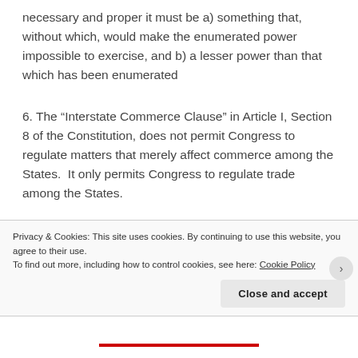necessary and proper it must be a) something that, without which, would make the enumerated power impossible to exercise, and b) a lesser power than that which has been enumerated
6. The “Interstate Commerce Clause” in Article I, Section 8 of the Constitution, does not permit Congress to regulate matters that merely affect commerce among the States.  It only permits Congress to regulate trade among the States.
7. The phrase, “general Welfare,” in Article I, Section 8 does not authorize Congress to enact any laws it
Privacy & Cookies: This site uses cookies. By continuing to use this website, you agree to their use.
To find out more, including how to control cookies, see here: Cookie Policy